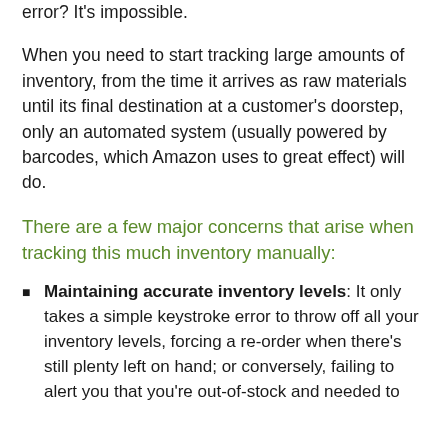error? It's impossible.
When you need to start tracking large amounts of inventory, from the time it arrives as raw materials until its final destination at a customer's doorstep, only an automated system (usually powered by barcodes, which Amazon uses to great effect) will do.
There are a few major concerns that arise when tracking this much inventory manually:
Maintaining accurate inventory levels: It only takes a simple keystroke error to throw off all your inventory levels, forcing a re-order when there's still plenty left on hand; or conversely, failing to alert you that you're out-of-stock and needed to